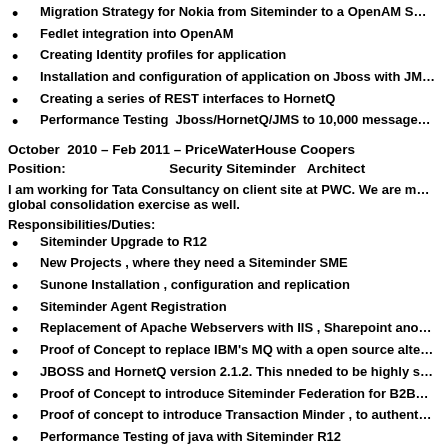Migration Strategy for Nokia from Siteminder to a OpenAM S…
Fedlet integration into OpenAM
Creating Identity profiles for application
Installation and configuration of application on Jboss with JM…
Creating a series of REST interfaces to HornetQ
Performance Testing  Jboss/HornetQ/JMS to 10,000 message…
October  2010 – Feb 2011 – PriceWaterHouse Coopers
Position:            Security Siteminder   Architect
I am working for Tata Consultancy on client site at PWC. We are m… global consolidation exercise as well.
Responsibilities/Duties:
Siteminder Upgrade to R12
New Projects , where they need a Siteminder SME
Sunone Installation , configuration and replication
Siteminder Agent Registration
Replacement of Apache Webservers with IIS , Sharepoint ano…
Proof of Concept to replace IBM's MQ with a open source alte…
JBOSS and HornetQ version 2.1.2. This nneded to be highly s…
Proof of Concept to introduce Siteminder Federation for B2B…
Proof of concept to introduce Transaction Minder , to authent…
Performance Testing of java with Siteminder R12